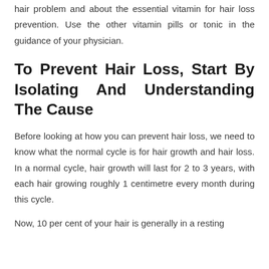…difficult to know about the food vitamins that cures the hair problem and about the essential vitamin for hair loss prevention. Use the other vitamin pills or tonic in the guidance of your physician.
To Prevent Hair Loss, Start By Isolating And Understanding The Cause
Before looking at how you can prevent hair loss, we need to know what the normal cycle is for hair growth and hair loss. In a normal cycle, hair growth will last for 2 to 3 years, with each hair growing roughly 1 centimetre every month during this cycle.
Now, 10 per cent of your hair is generally in a resting